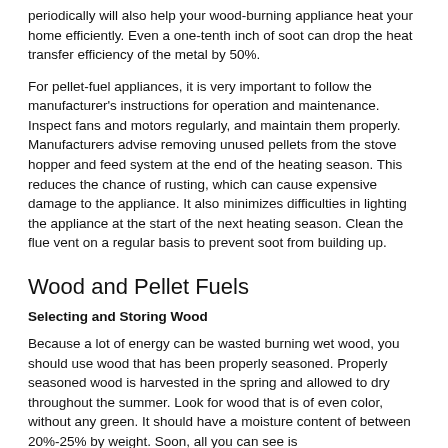periodically will also help your wood-burning appliance heat your home efficiently. Even a one-tenth inch of soot can drop the heat transfer efficiency of the metal by 50%.
For pellet-fuel appliances, it is very important to follow the manufacturer's instructions for operation and maintenance. Inspect fans and motors regularly, and maintain them properly. Manufacturers advise removing unused pellets from the stove hopper and feed system at the end of the heating season. This reduces the chance of rusting, which can cause expensive damage to the appliance. It also minimizes difficulties in lighting the appliance at the start of the next heating season. Clean the flue vent on a regular basis to prevent soot from building up.
Wood and Pellet Fuels
Selecting and Storing Wood
Because a lot of energy can be wasted burning wet wood, you should use wood that has been properly seasoned. Properly seasoned wood is harvested in the spring and allowed to dry throughout the summer. Look for wood that is of even color, without any green. It should have a moisture content of between 20%-25% by weight. Soon, all you can see is the bottom of the page.